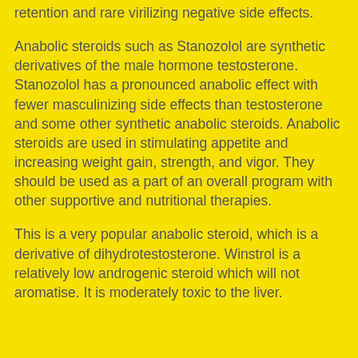retention and rare virilizing negative side effects.
Anabolic steroids such as Stanozolol are synthetic derivatives of the male hormone testosterone. Stanozolol has a pronounced anabolic effect with fewer masculinizing side effects than testosterone and some other synthetic anabolic steroids. Anabolic steroids are used in stimulating appetite and increasing weight gain, strength, and vigor. They should be used as a part of an overall program with other supportive and nutritional therapies.
This is a very popular anabolic steroid, which is a derivative of dihydrotestosterone. Winstrol is a relatively low androgenic steroid which will not aromatise. It is moderately toxic to the liver.